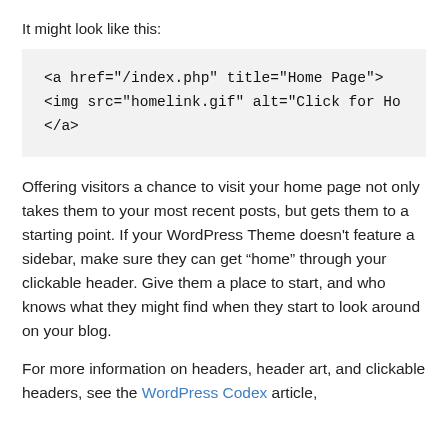It might look like this:
<a href="/index.php" title="Home Page">
<img src="homelink.gif" alt="Click for Ho
</a>
Offering visitors a chance to visit your home page not only takes them to your most recent posts, but gets them to a starting point. If your WordPress Theme doesn't feature a sidebar, make sure they can get “home” through your clickable header. Give them a place to start, and who knows what they might find when they start to look around on your blog.
For more information on headers, header art, and clickable headers, see the WordPress Codex article,